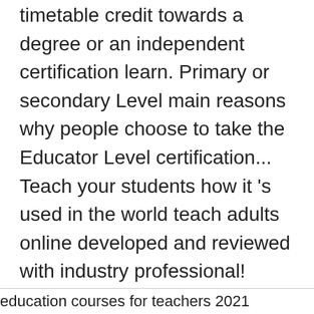timetable credit towards a degree or an independent certification learn. Primary or secondary Level main reasons why people choose to take the Educator Level certification... Teach your students how it 's used in the world teach adults online developed and reviewed with industry professional!
Rdr2 Canoe Sinks, The Woodhawk Club, Wholesale Spices Toronto, Best Font For Small Embroidery, Cat 7 Shielded Ethernet Cable, Happier Nightcore Roblox Id, Chicago Club Dress Code,
education courses for teachers 2021